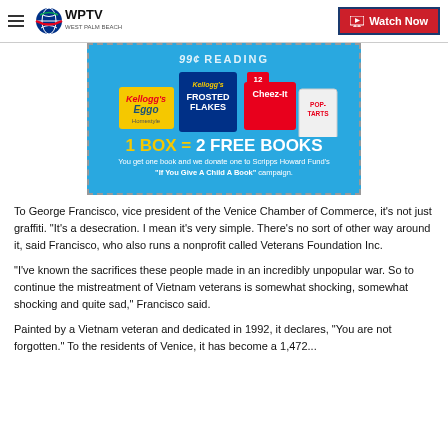WPTV West Palm Beach | Watch Now
[Figure (photo): Kellogg's promotional advertisement showing Frosted Flakes, Eggo, Cheez-It, and Pop-Tarts product boxes. Text reads '1 BOX = 2 FREE BOOKS. You get one book and we donate one to Scripps Howard Fund's "If You Give A Child A Book" campaign.']
To George Francisco, vice president of the Venice Chamber of Commerce, it's not just graffiti. "It's a desecration. I mean it's very simple. There's no sort of other way around it, said Francisco, who also runs a nonprofit called Veterans Foundation Inc.
"I've known the sacrifices these people made in an incredibly unpopular war. So to continue the mistreatment of Vietnam veterans is somewhat shocking, somewhat shocking and quite sad," Francisco said.
Painted by a Vietnam veteran and dedicated in 1992, it declares, "You are not forgotten." To the residents of Venice, it has become a 1,472...